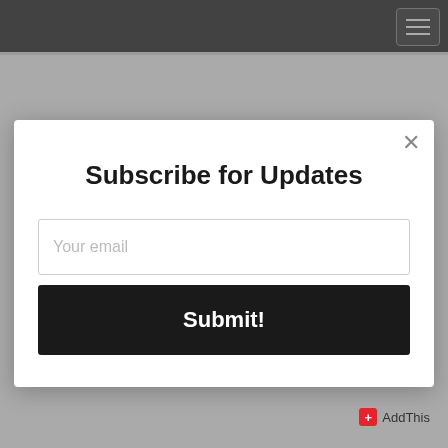Great explanation. My frustration is/has been that it always seemed more like "drama". He is very theatrical
Subscribe for Updates
Your email
Submit!
AddThis